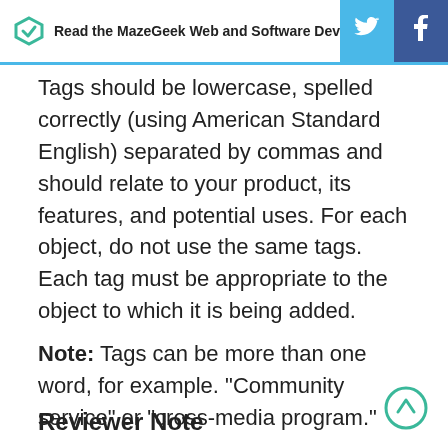Read the MazeGeek Web and Software Develop
Tags should be lowercase, spelled correctly (using American Standard English) separated by commas and should relate to your product, its features, and potential uses. For each object, do not use the same tags. Each tag must be appropriate to the object to which it is being added.
Note: Tags can be more than one word, for example. "Community service" or "cross-media program."
Reviewer Note